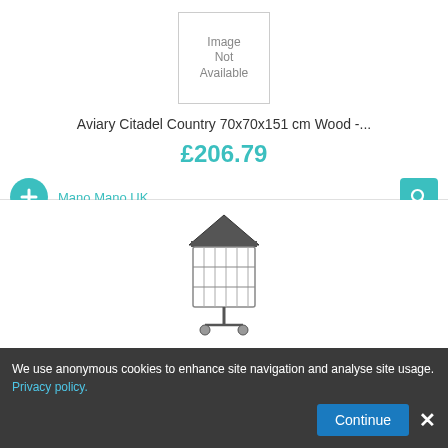[Figure (photo): Image Not Available placeholder box for Aviary Citadel Country product]
Aviary Citadel Country 70x70x151 cm Wood -...
£206.79
Mano Mano UK
[Figure (photo): Bird cage with roof, black, tall floor-standing cage with gabled roof on wheels]
Vidaxl - Bird Cage with Roof Black 66x66x155 cm...
£118.74
Mano Mano UK
We use anonymous cookies to enhance site navigation and analyse site usage. Privacy policy.